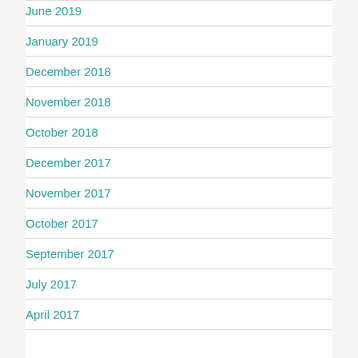June 2019
January 2019
December 2018
November 2018
October 2018
December 2017
November 2017
October 2017
September 2017
July 2017
April 2017